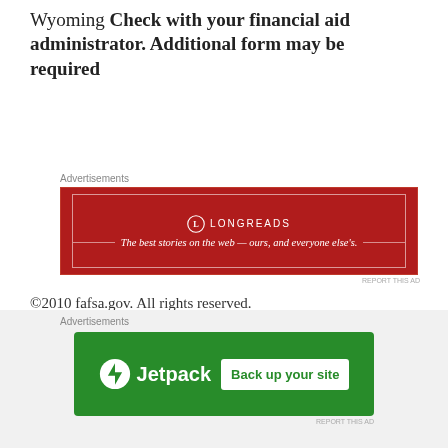Wyoming Check with your financial aid administrator. Additional form may be required
[Figure (other): Longreads advertisement banner — red background with white border. Logo and tagline: 'The best stories on the web — ours, and everyone else's.']
©2010 fafsa.gov. All rights reserved. FAFSA is a registered trademark of the U.S. Department of Education.
Your Success is My Success,
Keith Lipke
[Figure (other): Jetpack advertisement banner — green background. Jetpack logo with lightning bolt icon. Button: 'Back up your site']